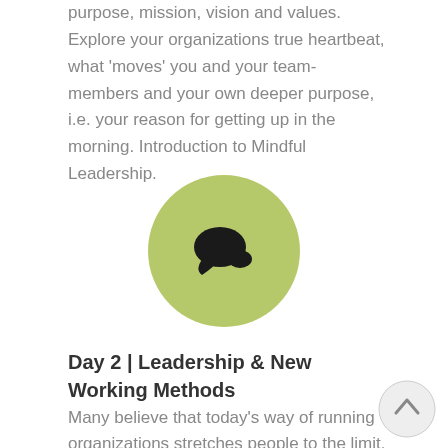purpose, mission, vision and values. Explore your organizations true heartbeat, what 'moves' you and your team-members and your own deeper purpose, i.e. your reason for getting up in the morning. Introduction to Mindful Leadership.
[Figure (illustration): Green circular icon with a speech bubble / chat icon in the center]
Day 2 | Leadership & New Working Methods
Many believe that today's way of running organizations stretches people to the limit. Many organizations find themselves bogged down by a top-down, hierarchic, KPI-driven, control-based and reactive mindset.